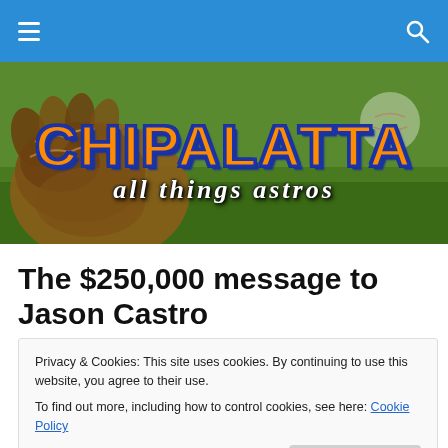Navigation bar with hamburger menu and search icon
[Figure (illustration): Chipalatta 'all things astros' banner with baseball glove background. Orange blocky letters 'CHIPALATTA' with blue outline, white italic cursive subtitle 'all things astros']
The $250,000 message to Jason Castro
Privacy & Cookies: This site uses cookies. By continuing to use this website, you agree to their use. To find out more, including how to control cookies, see here: Cookie Policy
Close and accept
Castro and his agent, Academy Baseball, have asked for